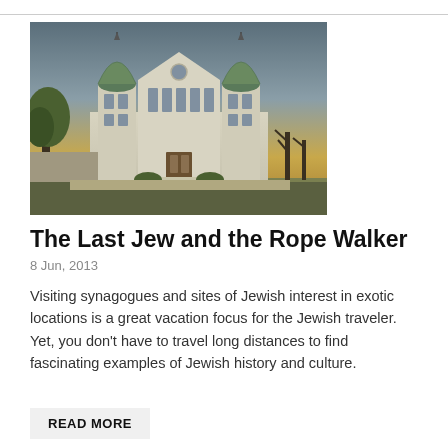[Figure (photo): Photograph of a white synagogue building with two green onion-shaped domes on towers, a triangular pediment with a round window, and trees on either side, taken at dusk with dramatic sky.]
The Last Jew and the Rope Walker
8 Jun, 2013
Visiting synagogues and sites of Jewish interest in exotic locations is a great vacation focus for the Jewish traveler. Yet, you don't have to travel long distances to find fascinating examples of Jewish history and culture.
READ MORE